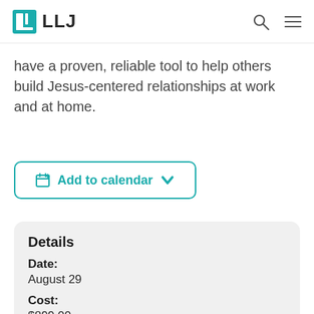LLJ
have a proven, reliable tool to help others build Jesus-centered relationships at work and at home.
Add to calendar
Details
Date:
August 29
Cost:
$899.00